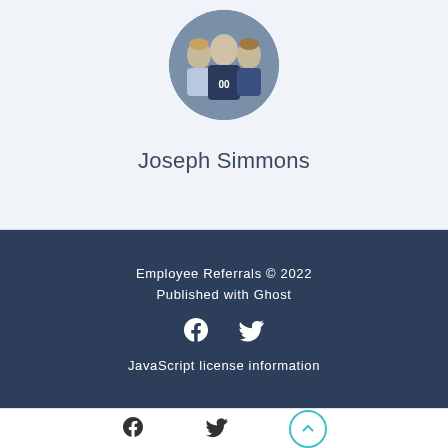[Figure (photo): Circular profile photo of Joseph Simmons showing people in football jerseys]
Joseph Simmons
Employee Referrals © 2022
Published with Ghost
JavaScript license information